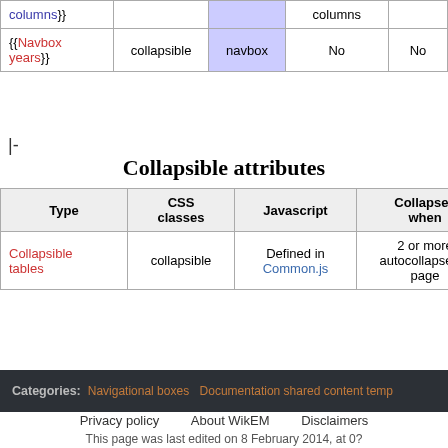|  | collapsible | navbox | columns |  |
| --- | --- | --- | --- | --- |
| {{Navbox years}} | collapsible | navbox | No | No |
|-
Collapsible attributes
| Type | CSS classes | Javascript | Collapses when | Cu initic |
| --- | --- | --- | --- | --- |
| Collapsible tables | collapsible | Defined in Common.js | 2 or more autocollapse on page | Y |
Categories: Navigational boxes  Documentation shared content temp
Privacy policy   About WikEM   Disclaimers   This page was last edited on 8 February 2014, at 0?